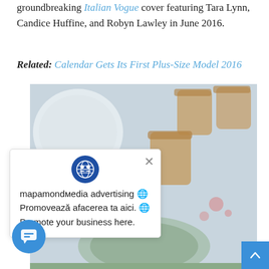groundbreaking Italian Vogue cover featuring Tara Lynn, Candice Huffine, and Robyn Lawley in June 2016.
Related: Calendar Gets Its First Plus-Size Model 2016
[Figure (photo): Overhead food/drink photograph showing bowls and drinks from above, partially obscured by an advertisement popup]
mapamondмedia advertising 🌐 Promovează afacerea ta aici. 🌐 Promote your business here.